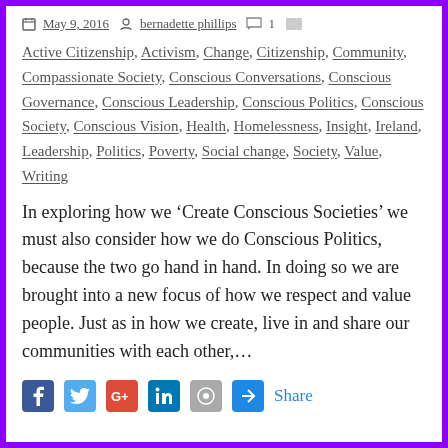May 9, 2016  bernadette phillips  1
Active Citizenship, Activism, Change, Citizenship, Community, Compassionate Society, Conscious Conversations, Conscious Governance, Conscious Leadership, Conscious Politics, Conscious Society, Conscious Vision, Health, Homelessness, Insight, Ireland, Leadership, Politics, Poverty, Social change, Society, Value, Writing
In exploring how we ‘Create Conscious Societies’ we must also consider how we do Conscious Politics, because the two go hand in hand. In doing so we are brought into a new focus of how we respect and value people. Just as in how we create, live in and share our communities with each other,…
[Figure (infographic): Social sharing icons row: Facebook (blue), Twitter (light blue), Google+ (red), LinkedIn (blue), WordPress (grey), Share button (blue) with text 'Share']